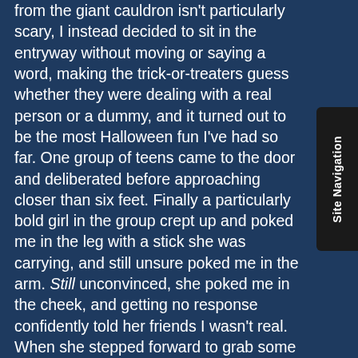from the giant cauldron isn't particularly scary, I instead decided to sit in the entryway without moving or saying a word, making the trick-or-treaters guess whether they were dealing with a real person or a dummy, and it turned out to be the most Halloween fun I've had so far. One group of teens came to the door and deliberated before approaching closer than six feet. Finally a particularly bold girl in the group crept up and poked me in the leg with a stick she was carrying, and still unsure poked me in the arm. Still unconvinced, she poked me in the cheek, and getting no response confidently told her friends I wasn't real. When she stepped forward to grab some candy I let out a yell, and suddenly teens were running down our front walk; to my continual delight that scene was repeated many times throughout the night, and the piles of dropped candy that we found scattered over our entryway when the evening was over were a testament to the successful scaring.
If you want to see more photos, or follow in the